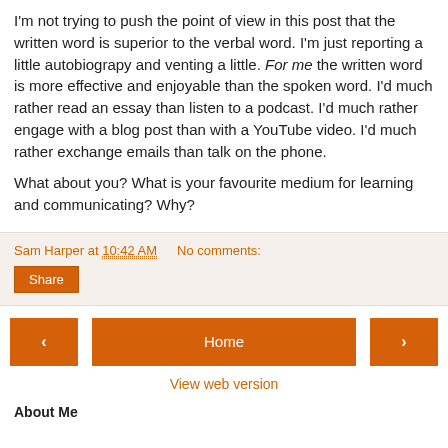I'm not trying to push the point of view in this post that the written word is superior to the verbal word. I'm just reporting a little autobiograpy and venting a little. For me the written word is more effective and enjoyable than the spoken word. I'd much rather read an essay than listen to a podcast. I'd much rather engage with a blog post than with a YouTube video. I'd much rather exchange emails than talk on the phone.
What about you? What is your favourite medium for learning and communicating? Why?
Sam Harper at 10:42 AM   No comments:
Share
[Figure (other): Navigation buttons: left arrow, Home, right arrow]
View web version
About Me